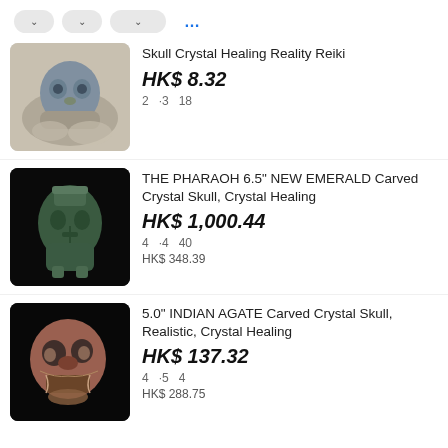[Figure (screenshot): Filter bar with three pill-shaped dropdown buttons and a more options button (...)]
Skull Crystal Healing Reality Reiki
HK$ 8.32
2  · 3  18
THE PHARAOH 6.5" NEW EMERALD Carved Crystal Skull, Crystal Healing
HK$ 1,000.44
4  · 4  40
HK$ 348.39
5.0" INDIAN AGATE Carved Crystal Skull, Realistic, Crystal Healing
HK$ 137.32
4  · 5  4
HK$ 288.75